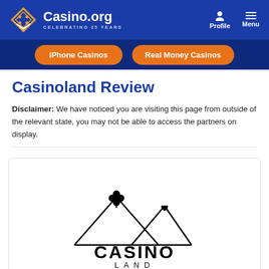Casino.org - CELEBRATING 25 YEARS | Profile | Menu
iPhone Casinos | Real Money Casinos
Casinoland Review
Disclaimer: We have noticed you are visiting this page from outside of the relevant state, you may not be able to access the partners on display.
[Figure (logo): Casinoland casino logo: two mountain peaks with a four-leaf clover and a heart symbol above them, with 'CASINO LAND' text below and a US flag with green checkmark badge]
[Figure (logo): Partial view of another casino logo at bottom of page]